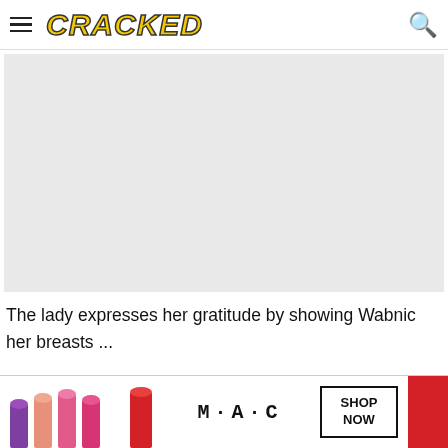CRACKED
[Figure (photo): Large light gray placeholder image area representing a photo on a Cracked.com article page]
The lady expresses her gratitude by showing Wabnic her breasts ...
[Figure (photo): MAC cosmetics advertisement banner showing lipsticks in purple, pink, and red colors with MAC logo and SHOP NOW button]